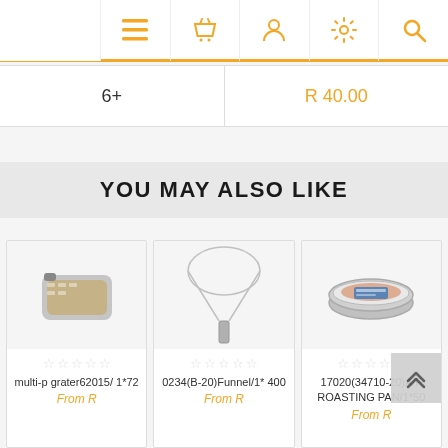Navigation bar with menu, basket, account, settings, search icons
| Quantity | Price |
| --- | --- |
| 6+ | R 40.00 |
YOU MAY ALSO LIKE
[Figure (photo): Product image: multi-p grater62015/1*72 - a plastic food container/grater]
multi-p grater62015/ 1*72
From R
[Figure (photo): Product image: 0234(B-20)Funnel/1*400 - a long kitchen funnel on white background]
0234(B-20)Funnel/1* 400
From R
[Figure (photo): Product image: 17020(34710-20)A/F ROASTING PAN/1*50 - a silver aluminium roasting pan]
17020(34710-20)A/F ROASTING PAN/1*50
From R